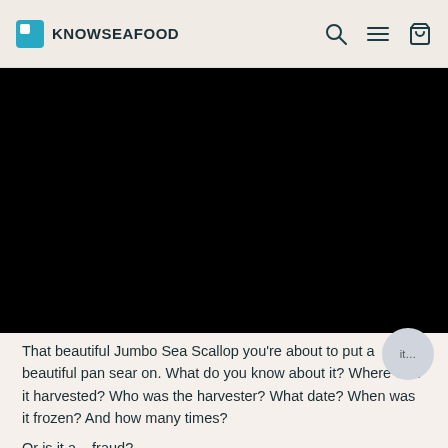KNOWSEAFOOD
[Figure (photo): Black/dark hero image area, likely a video thumbnail or dark seafood image]
That beautiful Jumbo Sea Scallop you're about to put a beautiful pan sear on. What do you know about it? Where was it harvested? Who was the harvester? What date? When was it frozen? And how many times?
Or is it a... fraud?